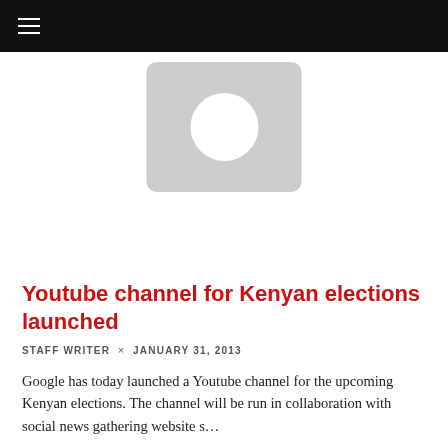☰
[Figure (illustration): Placeholder image: a grey rounded rectangle with a white circle in the center, representing a missing/default image thumbnail.]
Youtube channel for Kenyan elections launched
STAFF WRITER × JANUARY 31, 2013
Google has today launched a Youtube channel for the upcoming Kenyan elections. The channel will be run in collaboration with social news gathering website s...
1 MIN READ